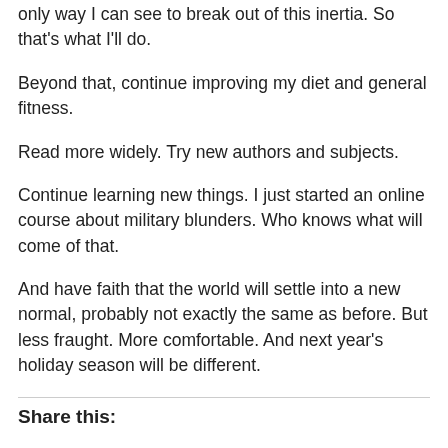only way I can see to break out of this inertia. So that's what I'll do.
Beyond that, continue improving my diet and general fitness.
Read more widely. Try new authors and subjects.
Continue learning new things. I just started an online course about military blunders. Who knows what will come of that.
And have faith that the world will settle into a new normal, probably not exactly the same as before. But less fraught. More comfortable. And next year’s holiday season will be different.
Share this: